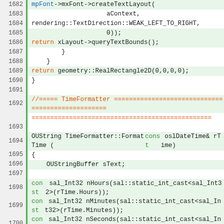[Figure (screenshot): Source code listing showing C++ code for text layout and TimeFormatter::FormatTime function, lines 1682-1704]